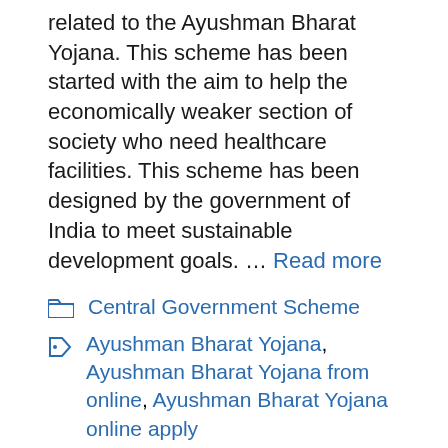related to the Ayushman Bharat Yojana. This scheme has been started with the aim to help the economically weaker section of society who need healthcare facilities. This scheme has been designed by the government of India to meet sustainable development goals. … Read more
Central Government Scheme
Ayushman Bharat Yojana, Ayushman Bharat Yojana from online, Ayushman Bharat Yojana online apply
Leave a comment
Ayushman Bharat...